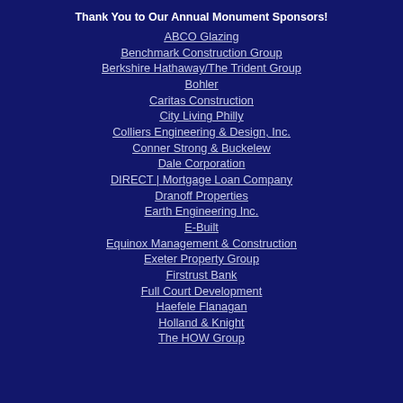Thank You to Our Annual Monument Sponsors!
ABCO Glazing
Benchmark Construction Group
Berkshire Hathaway/The Trident Group
Bohler
Caritas Construction
City Living Philly
Colliers Engineering & Design, Inc.
Conner Strong & Buckelew
Dale Corporation
DIRECT | Mortgage Loan Company
Dranoff Properties
Earth Engineering Inc.
E-Built
Equinox Management & Construction
Exeter Property Group
Firstrust Bank
Full Court Development
Haefele Flanagan
Holland & Knight
The HOW Group